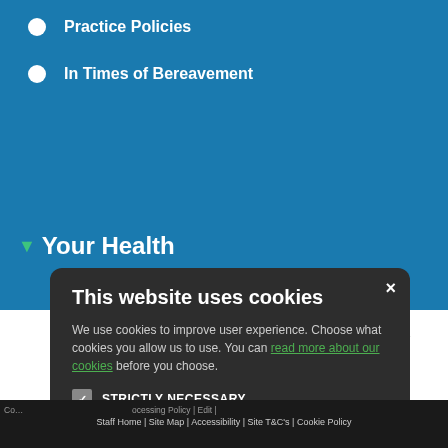Practice Policies
In Times of Bereavement
▼ Your Health
[Figure (screenshot): Cookie consent modal dialog on a healthcare website. Contains title 'This website uses cookies', body text about cookie usage, a link 'read more about our cookies', checkboxes for STRICTLY NECESSARY (checked), PERFORMANCE, TARGETING, FUNCTIONALITY, and two buttons: ACCEPT ALL and DECLINE ALL. Close button (×) in top right.]
Co... ocessing Policy | Edit | Staff Home | Site Map | Accessibility | Site T&C's | Cookie Policy